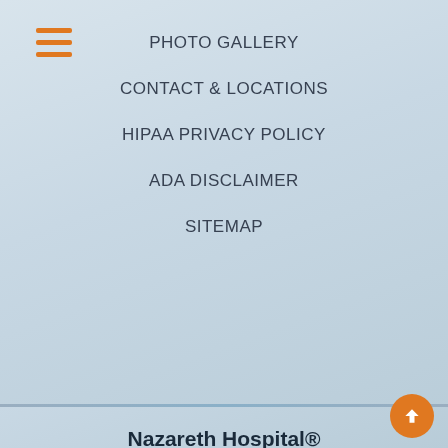PHOTO GALLERY
CONTACT & LOCATIONS
HIPAA PRIVACY POLICY
ADA DISCLAIMER
SITEMAP
Nazareth Hospital® Physicians Office Building
2701 Holme Avenue, Suite 303
Philadelphia, PA 19152
Phone: (215) 335-3088
Fax: (215) 335-0315
Harbor Pavilions